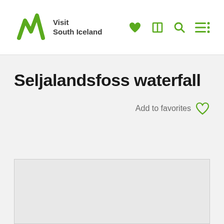Visit South Iceland
Seljalandsfoss waterfall
Add to favorites
[Figure (photo): Large image placeholder area for Seljalandsfoss waterfall photo, shown as light grey box]